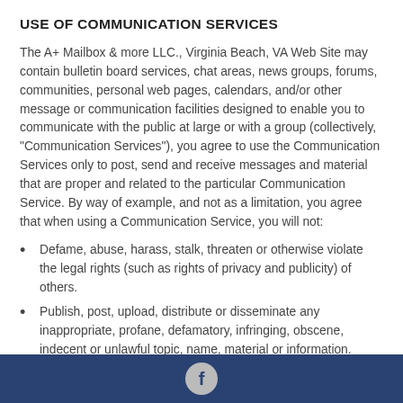USE OF COMMUNICATION SERVICES
The A+ Mailbox & more LLC., Virginia Beach, VA Web Site may contain bulletin board services, chat areas, news groups, forums, communities, personal web pages, calendars, and/or other message or communication facilities designed to enable you to communicate with the public at large or with a group (collectively, "Communication Services"), you agree to use the Communication Services only to post, send and receive messages and material that are proper and related to the particular Communication Service. By way of example, and not as a limitation, you agree that when using a Communication Service, you will not:
Defame, abuse, harass, stalk, threaten or otherwise violate the legal rights (such as rights of privacy and publicity) of others.
Publish, post, upload, distribute or disseminate any inappropriate, profane, defamatory, infringing, obscene, indecent or unlawful topic, name, material or information.
Upload files that contain software or other material protected by intellectual property laws (or by rights of privacy of publicity) unless you own or control the rights...
f